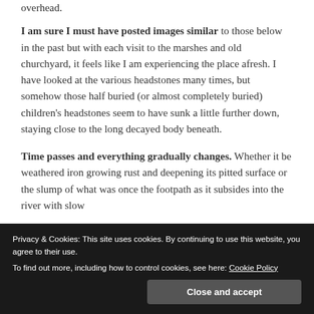overhead.
I am sure I must have posted images similar to those below in the past but with each visit to the marshes and old churchyard, it feels like I am experiencing the place afresh. I have looked at the various headstones many times, but somehow those half buried (or almost completely buried) children's headstones seem to have sunk a little further down, staying close to the long decayed body beneath.
Time passes and everything gradually changes. Whether it be weathered iron growing rust and deepening its pitted surface or the slump of what was once the footpath as it subsides into the river with slow
Privacy & Cookies: This site uses cookies. By continuing to use this website, you agree to their use.
To find out more, including how to control cookies, see here: Cookie Policy
Close and accept